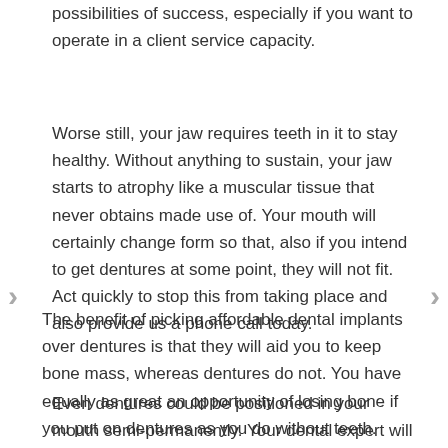possibilities of success, especially if you want to operate in a client service capacity.
Worse still, your jaw requires teeth in it to stay healthy. Without anything to sustain, your jaw starts to atrophy like a muscular tissue that never obtains made use of. Your mouth will certainly change form so that, also if you intend to get dentures at some point, they will not fit. Act quickly to stop this from taking place and also provide us a phone call today.
The benefit of picking affordable dental implants over dentures is that they will aid you to keep bone mass, whereas dentures do not. You have equally as great an opportunity of losing bone if you put on dentures as you do without teeth.
Even dentures could be positioned in your mouth semi-permanently. Your dental expert will certainly fix them to a number of posts to make sure that you take hip jump lessons without losing